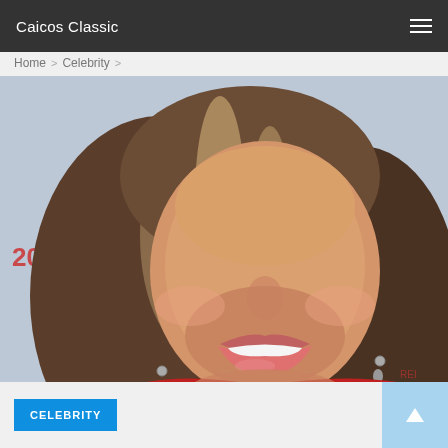Caicos Classic
Home > Celebrity >
[Figure (photo): Close-up photo of a smiling woman with long wavy blonde-highlighted brown hair, wearing a red strapless dress, at what appears to be a 2009 red carpet event. Text '2009' visible on the left side of the image.]
CELEBRITY